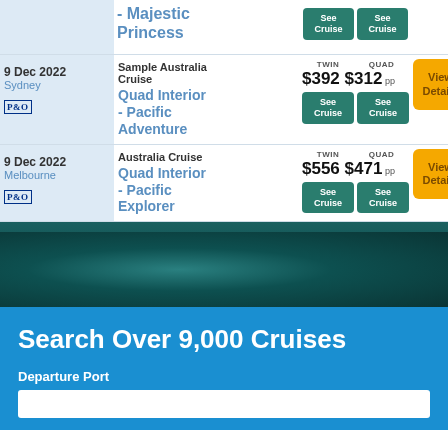| Date/Port | Cruise/Ship | Prices | Action |
| --- | --- | --- | --- |
|  | - Majestic Princess | TWIN | QUAD | See Cruise | See Cruise |
| 9 Dec 2022
Sydney | Sample Australia Cruise
Quad Interior - Pacific Adventure | TWIN $392 QUAD $312 pp | View Details | See Cruise | See Cruise |
| 9 Dec 2022
Melbourne | Australia Cruise
Quad Interior - Pacific Explorer | TWIN $556 QUAD $471 pp | View Details | See Cruise | See Cruise |
[Figure (photo): Teal ocean/sea background image]
Search Over 9,000 Cruises
Departure Port